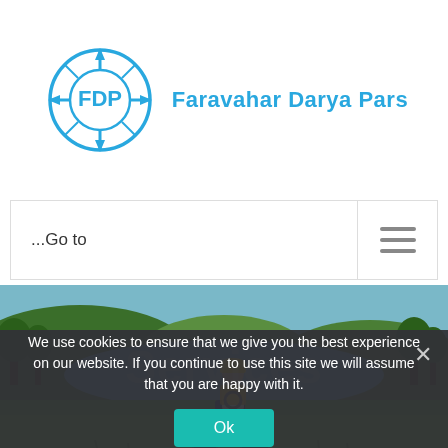[Figure (logo): Faravahar Darya Pars company logo — a compass/crosshair circle with FDP monogram in cyan/blue, with company name to the right in cyan]
...Go to
[Figure (photo): A person on a red ride-on lawn mower cutting bright green grass, with a lake and trees/hills in the background]
We use cookies to ensure that we give you the best experience on our website. If you continue to use this site we will assume that you are happy with it.
Ok